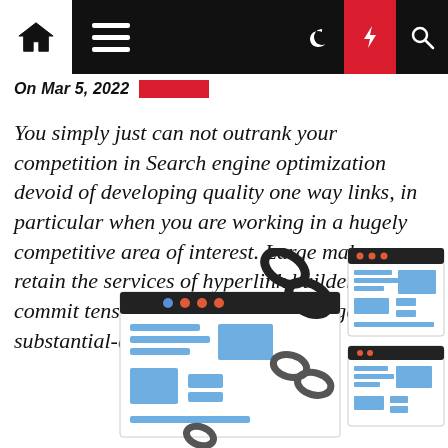Navigation bar with home, menu, dark mode, lightning, and search icons
On Mar 5, 2022
You simply just can not outrank your competition in Search engine optimization devoid of developing quality one way links, in particular when you are working in a hugely competitive area of interest. Large makes retain the services of hyperlink builders and commit tens of hundreds of bucks to get substantial-quality [...]
[Figure (illustration): Illustration showing website browser windows connected by chain links, representing backlinks in SEO]